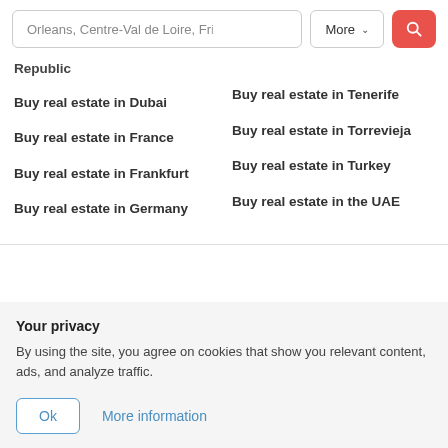[Figure (screenshot): Search bar with input 'Orleans, Centre-Val de Loire, Fr', a 'More' dropdown button, and a red search icon button]
Republic
Buy real estate in Dubai
Buy real estate in France
Buy real estate in Frankfurt
Buy real estate in Germany
Buy real estate in Tenerife
Buy real estate in Torrevieja
Buy real estate in Turkey
Buy real estate in the UAE
Your privacy
By using the site, you agree on cookies that show you relevant content, ads, and analyze traffic.
Ok   More information